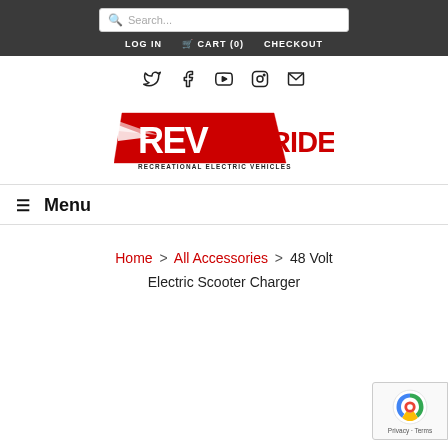Search... | LOG IN  CART (0)  CHECKOUT
[Figure (logo): Social media icons: Twitter, Facebook, YouTube, Instagram, Email]
[Figure (logo): REV RIDES - Recreational Electric Vehicles logo in red]
≡ Menu
Home > All Accessories > 48 Volt Electric Scooter Charger